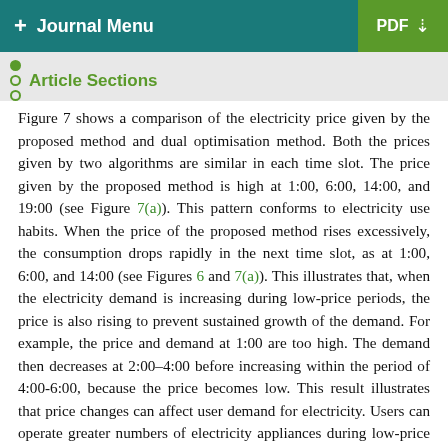+ Journal Menu   PDF ↓
Article Sections
Figure 7 shows a comparison of the electricity price given by the proposed method and dual optimisation method. Both the prices given by two algorithms are similar in each time slot. The price given by the proposed method is high at 1:00, 6:00, 14:00, and 19:00 (see Figure 7(a)). This pattern conforms to electricity use habits. When the price of the proposed method rises excessively, the consumption drops rapidly in the next time slot, as at 1:00, 6:00, and 14:00 (see Figures 6 and 7(a)). This illustrates that, when the electricity demand is increasing during low-price periods, the price is also rising to prevent sustained growth of the demand. For example, the price and demand at 1:00 are too high. The demand then decreases at 2:00–4:00 before increasing within the period of 4:00-6:00, because the price becomes low. This result illustrates that price changes can affect user demand for electricity. Users can operate greater numbers of electricity appliances during low-price periods and deactivate devices that do not require constant operation during high-price periods. This is beneficial for peak cutting and valley filling. In addition, the